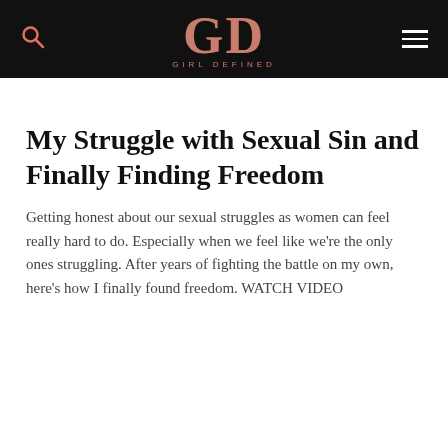GD GIRL DEFINED
My Struggle with Sexual Sin and Finally Finding Freedom
Getting honest about our sexual struggles as women can feel really hard to do. Especially when we feel like we're the only ones struggling. After years of fighting the battle on my own, here's how I finally found freedom. WATCH VIDEO